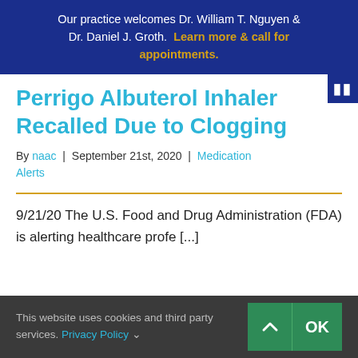Our practice welcomes Dr. William T. Nguyen & Dr. Daniel J. Groth. Learn more & call for appointments.
Perrigo Albuterol Inhaler Recalled Due to Clogging
By naac | September 21st, 2020 | Medication Alerts
9/21/20 The U.S. Food and Drug Administration (FDA) is alerting healthcare profe [...]
This website uses cookies and third party services. Privacy Policy